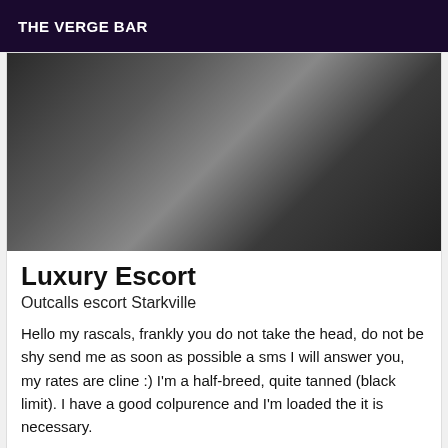THE VERGE BAR
[Figure (photo): Black and white photo showing a person from behind]
Luxury Escort
Outcalls escort Starkville
Hello my rascals, frankly you do not take the head, do not be shy send me as soon as possible a sms I will answer you, my rates are cline :) I'm a half-breed, quite tanned (black limit). I have a good colpurence and I'm loaded the it is necessary.
[Figure (photo): Dark photo with red and purple tones showing a person in a bar setting]